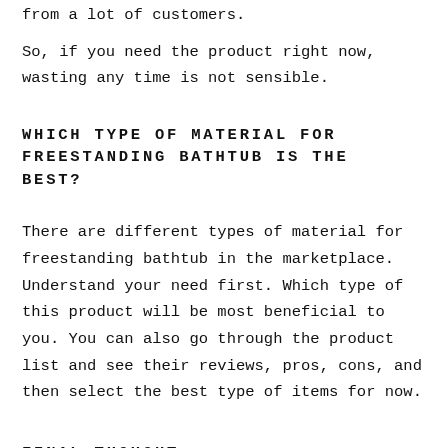from a lot of customers.
So, if you need the product right now, wasting any time is not sensible.
WHICH TYPE OF MATERIAL FOR FREESTANDING BATHTUB IS THE BEST?
There are different types of material for freestanding bathtub in the marketplace. Understand your need first. Which type of this product will be most beneficial to you. You can also go through the product list and see their reviews, pros, cons, and then select the best type of items for now.
FINAL THOUGHT